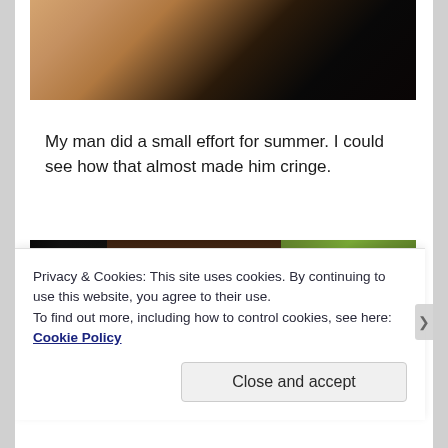[Figure (photo): Partial photo at top of page showing a person's neck/chin area with dark clothing and light/tan fabric visible, cropped at the bottom edge]
My man did a small effort for summer. I could see how that almost made him cringe.
[Figure (photo): Photo showing dark sunglasses resting on person's brown hair against a bright green grass background]
Privacy & Cookies: This site uses cookies. By continuing to use this website, you agree to their use.
To find out more, including how to control cookies, see here: Cookie Policy
Close and accept